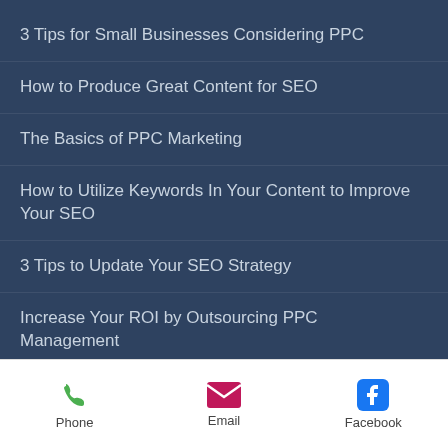3 Tips for Small Businesses Considering PPC
How to Produce Great Content for SEO
The Basics of PPC Marketing
How to Utilize Keywords In Your Content to Improve Your SEO
3 Tips to Update Your SEO Strategy
Increase Your ROI by Outsourcing PPC Management
Phone   Email   Facebook